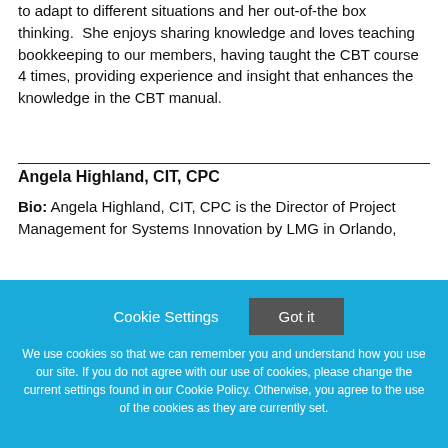to adapt to different situations and her out-of-the box thinking. She enjoys sharing knowledge and loves teaching bookkeeping to our members, having taught the CBT course 4 times, providing experience and insight that enhances the knowledge in the CBT manual.
Angela Highland, CIT, CPC
Bio: Angela Highland, CIT, CPC is the Director of Project Management for Systems Innovation by LMG in Orlando,
Cookie Settings  Got it

We use cookies so that we can remember you and understand how you use our site. If you do not agree with our use of cookies, please change the current settings found in our Cookie Policy. Otherwise, you agree to the use of the cookies as they are currently set.